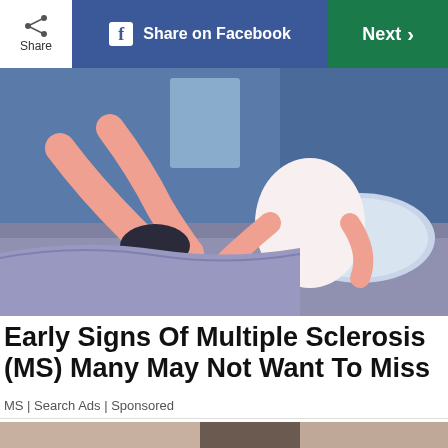[Figure (screenshot): Website toolbar with Share button, Share on Facebook button (blue), and Next button (green)]
[Figure (illustration): Colorful illustration of a person sitting/lying on a bed, showing legs and torso in a stylized flat design with pink, blue, and gray colors]
Early Signs Of Multiple Sclerosis (MS) Many May Not Want To Miss
MS | Search Ads | Sponsored
[Figure (photo): Close-up photo of hands touching/feeling the back of a person's neck or head, showing skin texture in detail]